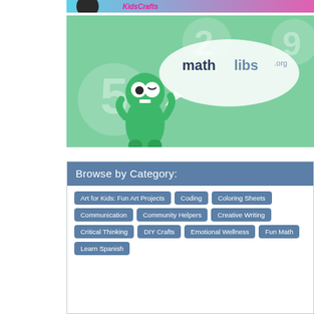[Figure (illustration): Top banner with cyan-to-pink gradient and pink italic text partially visible, with a dark circular character/logo on the left]
[Figure (illustration): mathlibs.org advertisement banner with green monster character holding a speech bubble that says 'mathlibs.org', on a mint green background with large number balloons (5, 2, 9)]
Browse by Category:
Art for Kids: Fun Art Projects
Coding
Coloring Sheets
Communication
Community Helpers
Creative Writing
Critical Thinking
DIY Crafts
Emotional Wellness
Fun Math
Learn Spanish